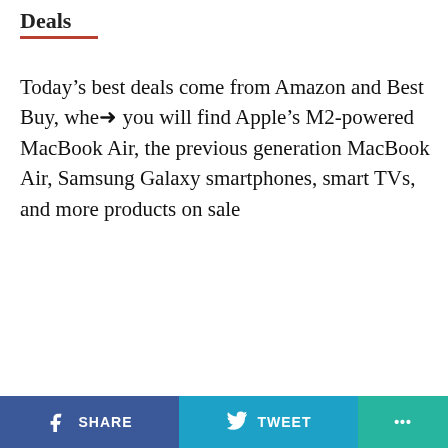Deals
Today’s best deals come from Amazon and Best Buy, where you will find Apple’s M2-powered MacBook Air, the previous generation MacBook Air, Samsung Galaxy smartphones, smart TVs, and more products on sale
ADVERTISEMENT
SHARE  TWEET  •••